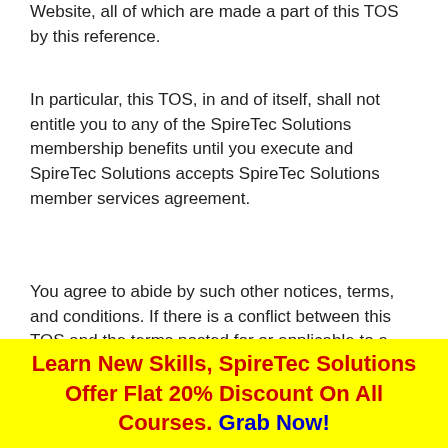Website, all of which are made a part of this TOS by this reference.
In particular, this TOS, in and of itself, shall not entitle you to any of the SpireTec Solutions membership benefits until you execute and SpireTec Solutions accepts SpireTec Solutions member services agreement.
You agree to abide by such other notices, terms, and conditions. If there is a conflict between this TOS and the terms posted for or applicable to a specific portion of the SpireTec Website, the latter terms shall control with respect to your use of that portion of the SpireTec Website. SpireTec Solutions obligations, if any, with respect to its programs,
Learn New Skills, SpireTec Solutions Offer Flat 20% Discount On All Courses. Grab Now!